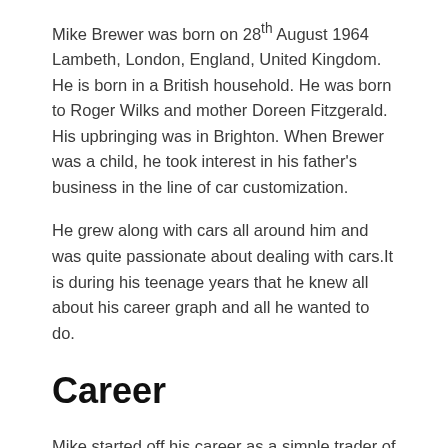Mike Brewer was born on 28th August 1964 Lambeth, London, England, United Kingdom. He is born in a British household. He was born to Roger Wilks and mother Doreen Fitzgerald. His upbringing was in Brighton. When Brewer was a child, he took interest in his father's business in the line of car customization.
He grew along with cars all around him and was quite passionate about dealing with cars.It is during his teenage years that he knew all about his career graph and all he wanted to do.
Career
Mike started off his career as a simple trader of the car. He